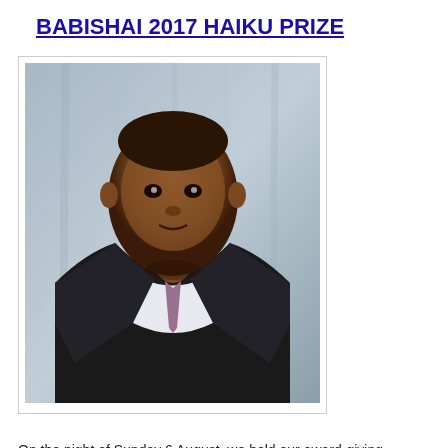BABISHAI 2017 HAIKU PRIZE
[Figure (photo): Portrait photo of a man in a dark suit and tie against a light grey curtain background]
On the night of Sunday 6 August, we held our award-giving ceremony of the 2017 Babishai haiku prize. The judges, after intense deliberation, came up with their final list, and in acknowledgement to Karishima Naome from K…